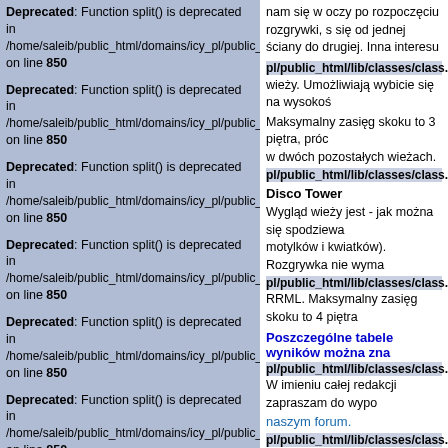Deprecated: Function split() is deprecated in /home/saleib/public_html/domains/icy_pl/public_html/lib/classes/class.contentoperations on line 850
Deprecated: Function split() is deprecated in /home/saleib/public_html/domains/icy_pl/public_html/lib/classes/class.contentoperations on line 850
Deprecated: Function split() is deprecated in /home/saleib/public_html/domains/icy_pl/public_html/lib/classes/class.contentoperations on line 850
Deprecated: Function split() is deprecated in /home/saleib/public_html/domains/icy_pl/public_html/lib/classes/class.contentoperations on line 850
Deprecated: Function split() is deprecated in /home/saleib/public_html/domains/icy_pl/public_html/lib/classes/class.contentoperations on line 850
Deprecated: Function split() is deprecated in /home/saleib/public_html/domains/icy_pl/public_html/lib/classes/class.contentoperations on line 850
Deprecated: Function split() is deprecated in /home/saleib/public_html/domains/icy_pl/public_html/lib/classes/class.contentoperations on line 850
Deprecated: Function split() is deprecated in /home/saleib/public_html/domains/icy_pl
nam się w oczy po rozpoczęciu rozgrywki, się od jednej ściany do drugiej. Inna interesu wieży. Umożliwiają wybicie się na wysokoś Maksymalny zasięg skoku to 3 piętra, próc w dwóch pozostałych wieżach.
Disco Tower
Wygląd wieży jest - jak można się spodzie motylków i kwiatków). Rozgrywka nie wyma RRML. Maksymalny zasięg skoku to 4 piętro
Poszczególne tabele wyników można znaleźć
W imieniu całej redakcji zapraszam do wypo naszym forum.
Zrzuty ekranu z gry:
[Figure (screenshot): Two screenshot thumbnails labeled Kliknij, aby powiększyć and a blue image area below]